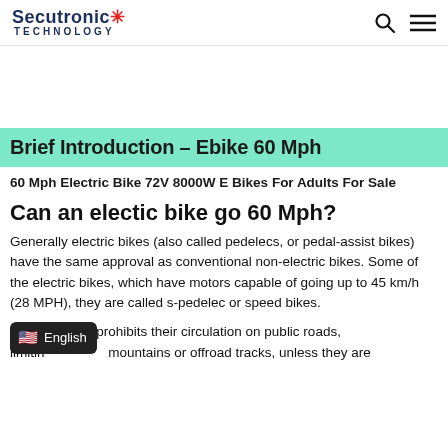Secutronic TECHNOLOGY
Brief Introduction – Ebike 60 Mph
60 Mph Electric Bike 72V 8000W E Bikes For Adults For Sale
Can an electic bike go 60 Mph?
Generally electric bikes (also called pedelecs, or pedal-assist bikes) have the same approval as conventional non-electric bikes. Some of the electric bikes, which have motors capable of going up to 45 km/h (28 MPH), they are called s-pedelec or speed bikes.
Europ… prohibits their circulation on public roads, limitin… mountains or offroad tracks, unless they are…